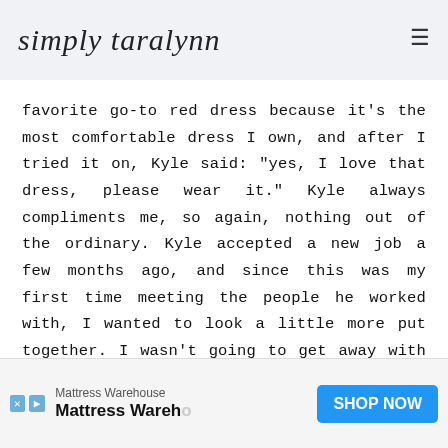simply taralynn
favorite go-to red dress because it’s the most comfortable dress I own, and after I tried it on, Kyle said: “yes, I love that dress, please wear it.” Kyle always compliments me, so again, nothing out of the ordinary. Kyle accepted a new job a few months ago, and since this was my first time meeting the people he worked with, I wanted to look a little more put together. I wasn’t going to get away with yoga pants at this picnic. I took the time to curl my hair, put on makeup, and I even managed to paint my nails in the car on the
[Figure (other): Advertisement banner for Mattress Warehouse with blue SHOP NOW button and small X and play icons on the left side.]